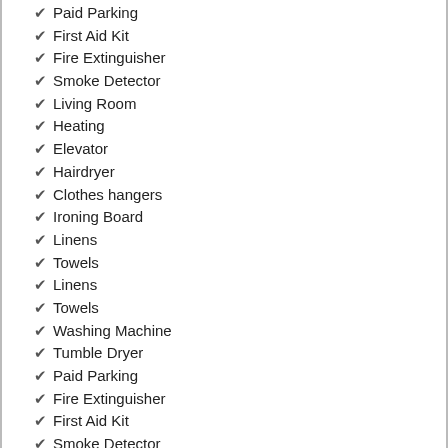✔ Paid Parking
✔ First Aid Kit
✔ Fire Extinguisher
✔ Smoke Detector
✔ Living Room
✔ Heating
✔ Elevator
✔ Hairdryer
✔ Clothes hangers
✔ Ironing Board
✔ Linens
✔ Towels
✔ Linens
✔ Towels
✔ Washing Machine
✔ Tumble Dryer
✔ Paid Parking
✔ Fire Extinguisher
✔ First Aid Kit
✔ Smoke Detector
✔ Co Detector
✔ Private Entrance
Business
✔ Laptop Friendly
✔ Laptop Friendly